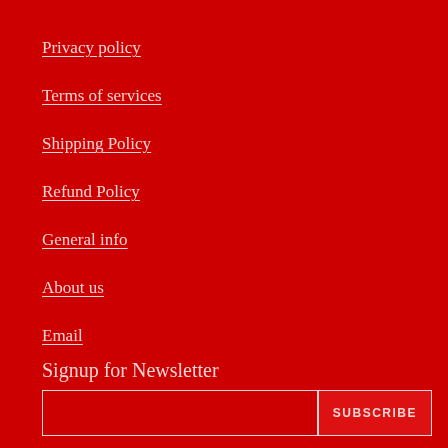Privacy policy
Terms of services
Shipping Policy
Refund Policy
General info
About us
Email
Signup for Newsletter
SUBSCRIBE